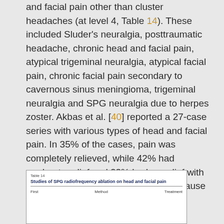and facial pain other than cluster headaches (at level 4, Table 14). These included Sluder's neuralgia, posttraumatic headache, chronic head and facial pain, atypical trigeminal neuralgia, atypical facial pain, chronic facial pain secondary to cavernous sinus meningioma, trigeminal neuralgia and SPG neuralgia due to herpes zoster. Akbas et al. [40] reported a 27-case series with various types of head and facial pain. In 35% of the cases, pain was completely relieved, while 42% had moderate relief and 23% had no relief with the SPG radiofrequency ablation. Because there were only case reports and case series available, the grade recommendation is C for any of these conditions.
[Figure (table-as-image): Partial view of Table 14: Studies of SPG radiofrequency ablation on head and facial pain. Shows table label, title, a horizontal divider, and column headers (First, Method, Treatment).]